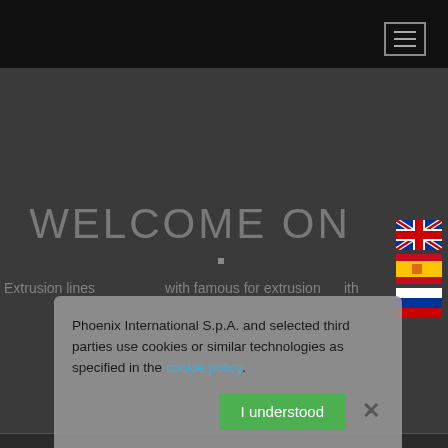[Figure (screenshot): Black navigation bar with hamburger menu icon (three horizontal lines) in top-right corner]
WELCOME ON
[Figure (illustration): UK flag, Spanish flag, and Russian flag stacked vertically on the right side]
Extrusion lines...with
Phoenix International S.p.A. and selected third parties use cookies or similar technologies as specified in the cookie policy.
I understood